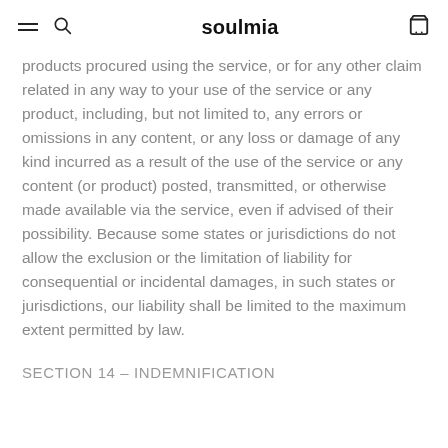soulmia
products procured using the service, or for any other claim related in any way to your use of the service or any product, including, but not limited to, any errors or omissions in any content, or any loss or damage of any kind incurred as a result of the use of the service or any content (or product) posted, transmitted, or otherwise made available via the service, even if advised of their possibility. Because some states or jurisdictions do not allow the exclusion or the limitation of liability for consequential or incidental damages, in such states or jurisdictions, our liability shall be limited to the maximum extent permitted by law.
SECTION 14 – INDEMNIFICATION